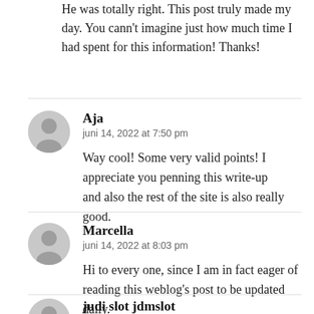He was totally right. This post truly made my day. You cann't imagine just how much time I had spent for this information! Thanks!
Aja
juni 14, 2022 at 7:50 pm

Way cool! Some very valid points! I appreciate you penning this write-up
and also the rest of the site is also really good.
Marcella
juni 14, 2022 at 8:03 pm

Hi to every one, since I am in fact eager of reading this weblog's post to be updated daily.
It contains good stuff.
judi slot jdmslot